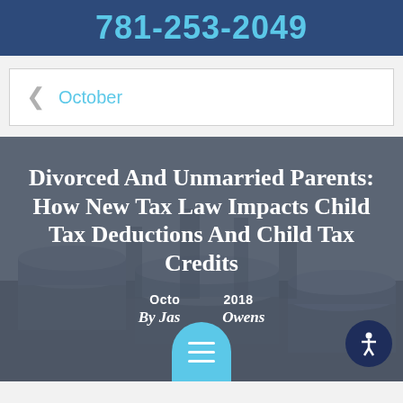781-253-2049
October
Divorced And Unmarried Parents: How New Tax Law Impacts Child Tax Deductions And Child Tax Credits
October 2018
By Jason Owens